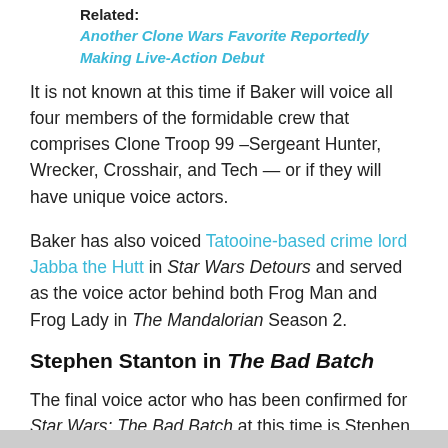Related: Another Clone Wars Favorite Reportedly Making Live-Action Debut
It is not known at this time if Baker will voice all four members of the formidable crew that comprises Clone Troop 99 –Sergeant Hunter, Wrecker, Crosshair, and Tech — or if they will have unique voice actors.
Baker has also voiced Tatooine-based crime lord Jabba the Hutt in Star Wars Detours and served as the voice actor behind both Frog Man and Frog Lady in The Mandalorian Season 2.
Stephen Stanton in The Bad Batch
The final voice actor who has been confirmed for Star Wars: The Bad Batch at this time is Stephen Stanton as Admiral Tarkin.